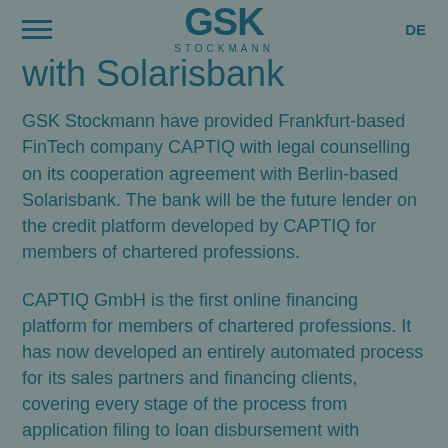GSK STOCKMANN | DE
with Solarisbank
GSK Stockmann have provided Frankfurt-based FinTech company CAPTIQ with legal counselling on its cooperation agreement with Berlin-based Solarisbank. The bank will be the future lender on the credit platform developed by CAPTIQ for members of chartered professions.
CAPTIQ GmbH is the first online financing platform for members of chartered professions. It has now developed an entirely automated process for its sales partners and financing clients, covering every stage of the process from application filing to loan disbursement with Solarisbank AG handling the...